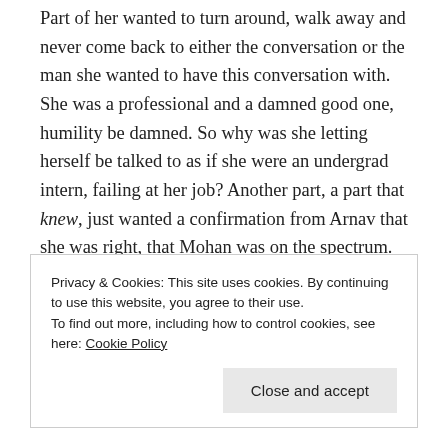Part of her wanted to turn around, walk away and never come back to either the conversation or the man she wanted to have this conversation with. She was a professional and a damned good one, humility be damned. So why was she letting herself be talked to as if she were an undergrad intern, failing at her job? Another part, a part that knew, just wanted a confirmation from Arnav that she was right, that Mohan was on the spectrum.
Privacy & Cookies: This site uses cookies. By continuing to use this website, you agree to their use. To find out more, including how to control cookies, see here: Cookie Policy